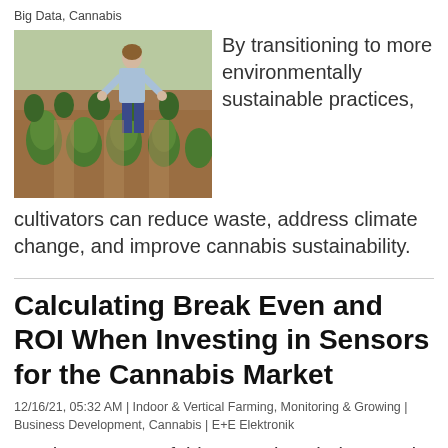Big Data, Cannabis
[Figure (photo): A person tending to cannabis plants in an outdoor field with rows of small cannabis plants growing in reddish-brown soil.]
By transitioning to more environmentally sustainable practices, cultivators can reduce waste, address climate change, and improve cannabis sustainability.
Calculating Break Even and ROI When Investing in Sensors for the Cannabis Market
12/16/21, 05:32 AM | Indoor & Vertical Farming, Monitoring & Growing | Business Development, Cannabis | E+E Elektronik
The purpose of this paper is to help a reader understand